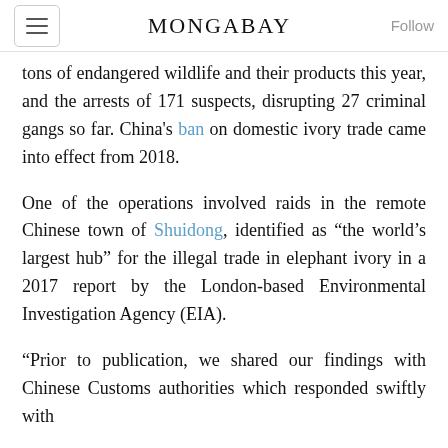MONGABAY
tons of endangered wildlife and their products this year, and the arrests of 171 suspects, disrupting 27 criminal gangs so far. China's ban on domestic ivory trade came into effect from 2018.
One of the operations involved raids in the remote Chinese town of Shuidong, identified as “the world’s largest hub” for the illegal trade in elephant ivory in a 2017 report by the London-based Environmental Investigation Agency (EIA).
“Prior to publication, we shared our findings with Chinese Customs authorities which responded swiftly with